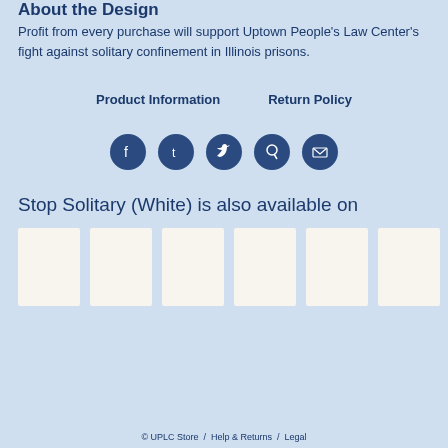About the Design
Profit from every purchase will support Uptown People's Law Center's fight against solitary confinement in Illinois prisons.
Product Information    Return Policy
[Figure (infographic): Five social media share icons in dark blue circles: Facebook, Tumblr, Twitter, Pinterest, Email]
Stop Solitary (White) is also available on
[Figure (infographic): Six white/cream rectangular product thumbnail images in a row]
© UPLC Store /  Help & Returns /  Legal